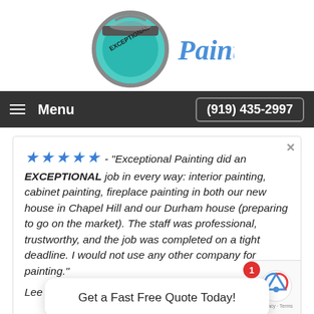[Figure (logo): Exceptional Painting logo with teal paint can and stylized text]
Menu   (919) 435-2997
★★★★★ - "Exceptional Painting did an EXCEPTIONAL job in every way: interior painting, cabinet painting, fireplace painting in both our new house in Chapel Hill and our Durham house (preparing to go on the market). The staff was professional, trustworthy, and the job was completed on a tight deadline. I would not use any other company for painting."
Lee in Ch
Get a Fast Free Quote Today!